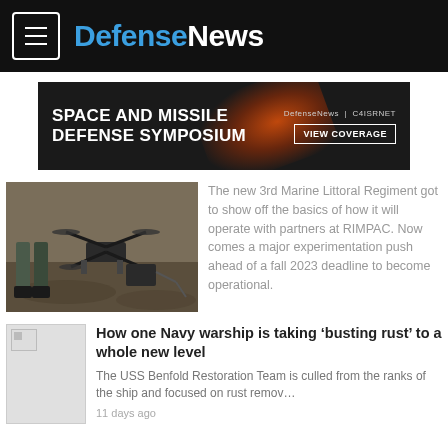DefenseNews
[Figure (screenshot): Space and Missile Defense Symposium advertisement banner with DefenseNews and C4ISRNET logos and VIEW COVERAGE button]
[Figure (photo): Military personnel on ground near drone/helicopter equipment in field setting]
The new 3rd Marine Littoral Regiment got to show off the basics of how it will operate with partners at RIMPAC. Now comes a major experimentation push ahead of a fall 2023 deadline to become operational.
[Figure (photo): Broken image placeholder for Navy warship article]
How one Navy warship is taking ‘busting rust’ to a whole new level
The USS Benfold Restoration Team is culled from the ranks of the ship and focused on rust remov…
11 days ago